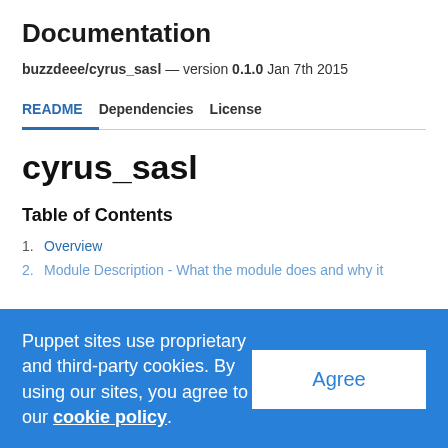Documentation
buzzdeee/cyrus_sasl — version 0.1.0 Jan 7th 2015
README | Dependencies | License
cyrus_sasl
Table of Contents
1. Overview
2. Module Description - What the module does and why it
Puppet sites use proprietary and third-party cookies. By using our sites, you agree to our cookie policy.